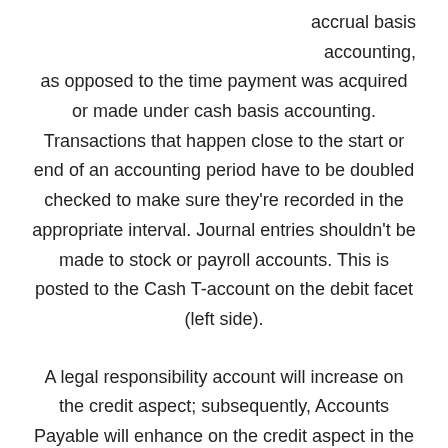accrual basis accounting, as opposed to the time payment was acquired or made under cash basis accounting. Transactions that happen close to the start or end of an accounting period have to be doubled checked to make sure they're recorded in the appropriate interval. Journal entries shouldn't be made to stock or payroll accounts. This is posted to the Cash T-account on the debit facet (left side).
A legal responsibility account will increase on the credit aspect; subsequently, Accounts Payable will enhance on the credit aspect in the amount of $three,500. Since the Outbound Stock Movement is a Sort=Accounting, then GL transactions would be recorded to scale back the inventory GL steadiness and the recognition of the